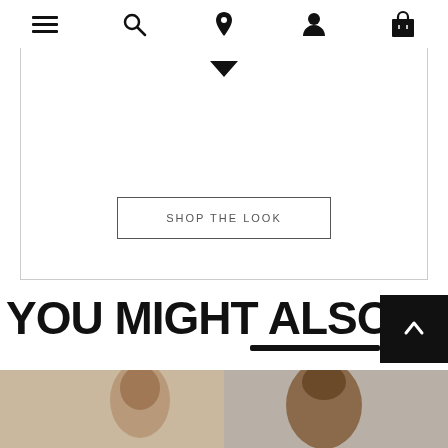Navigation bar with menu, search, location, account, and bag icons
[Figure (screenshot): White card section with a location pin dropdown indicator and a 'SHOP THE LOOK' button with border]
SHOP THE LOOK
YOU MIGHT ALSO LIKE
[Figure (photo): Two product photos side by side showing female models. Left photo has a 'Popular' badge.]